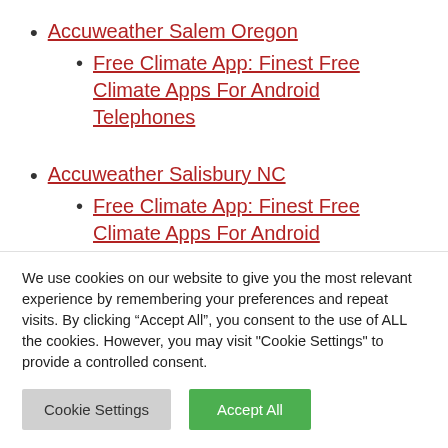Accuweather Salem Oregon
Free Climate App: Finest Free Climate Apps For Android Telephones
Accuweather Salisbury NC
Free Climate App: Finest Free Climate Apps For Android Telephones
Accuweather San Antonio
We use cookies on our website to give you the most relevant experience by remembering your preferences and repeat visits. By clicking “Accept All”, you consent to the use of ALL the cookies. However, you may visit "Cookie Settings" to provide a controlled consent.